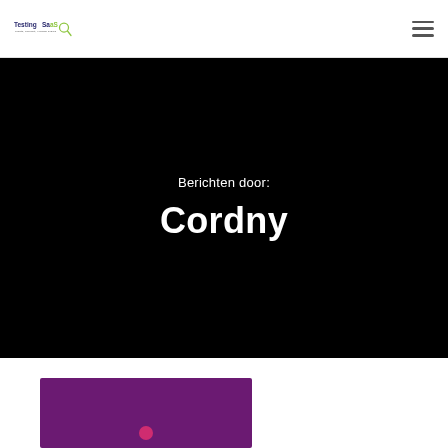TestingSaaS logo and navigation menu
Berichten door:
Cordny
[Figure (photo): Purple/dark magenta image thumbnail at the bottom of the page]